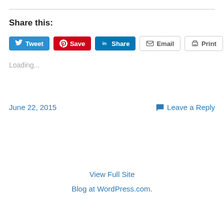Share this:
[Figure (infographic): Social sharing buttons: Tweet (Twitter), Save (Pinterest), Share (LinkedIn), Email, Print]
Loading...
June 22, 2015    Leave a Reply
View Full Site
Blog at WordPress.com.